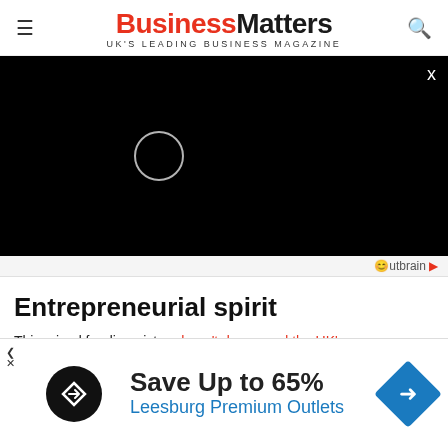Business Matters — UK'S LEADING BUSINESS MAGAZINE
[Figure (screenshot): Black video player overlay with a circular loading spinner in the center-left, and an X close button in the top-right corner]
Outbrain sponsored content attribution bar
Entrepreneurial spirit
This mixed funding picture hasn't dampened the UK's entrepreneurial spirit, with the number of new businesses being incorporated at its highest level since 2011. There were 646,000
[Figure (infographic): Advertisement banner: Save Up to 65% Leesburg Premium Outlets with navigation arrow icon]